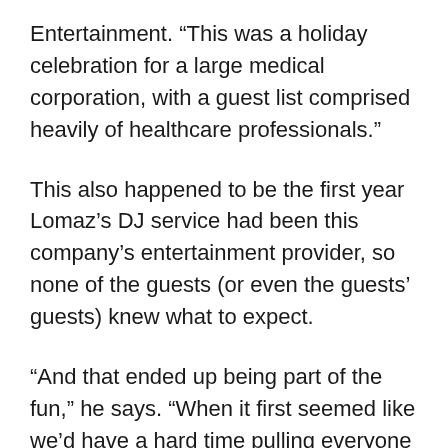Entertainment. “This was a holiday celebration for a large medical corporation, with a guest list comprised heavily of healthcare professionals.”
This also happened to be the first year Lomaz’s DJ service had been this company’s entertainment provider, so none of the guests (or even the guests’ guests) knew what to expect.
“And that ended up being part of the fun,” he says. “When it first seemed like we’d have a hard time pulling everyone away from the open bar, we gradually had them enjoying the